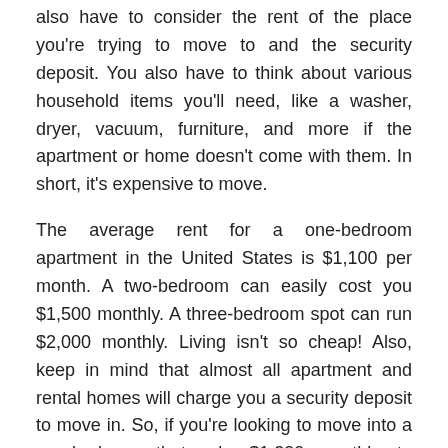also have to consider the rent of the place you're trying to move to and the security deposit. You also have to think about various household items you'll need, like a washer, dryer, vacuum, furniture, and more if the apartment or home doesn't come with them. In short, it's expensive to move.
The average rent for a one-bedroom apartment in the United States is $1,100 per month. A two-bedroom can easily cost you $1,500 monthly. A three-bedroom spot can run $2,000 monthly. Living isn't so cheap! Also, keep in mind that almost all apartment and rental homes will charge you a security deposit to move in. So, if you're looking to move into a one-bedroom that asks $1,200 monthly, to move in, you'll have to fork over $2,400. If you have a pet, expect to pay a few hundred for the pet deposit.
Monthly Expenses